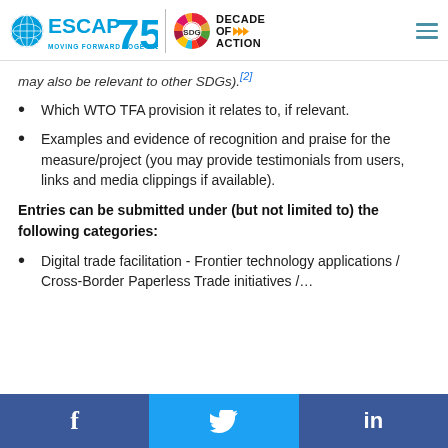ESCAP 75 | DECADE OF ACTION — Moving Forward Together
may also be relevant to other SDGs).[2]
Which WTO TFA provision it relates to, if relevant.
Examples and evidence of recognition and praise for the measure/project (you may provide testimonials from users, links and media clippings if available).
Entries can be submitted under (but not limited to) the following categories:
Digital trade facilitation - Frontier technology applications / Cross-Border Paperless Trade initiatives /…
f   [Twitter bird]   in